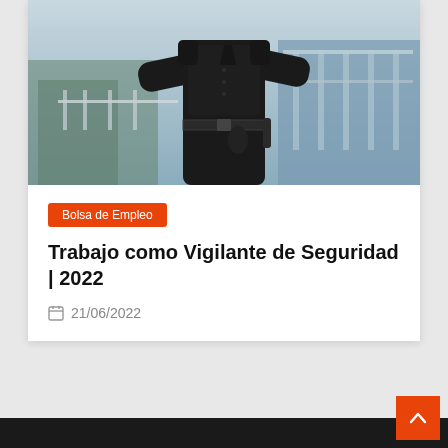[Figure (photo): A security guard dressed in black uniform with arms crossed, standing in front of a building with glass railings. The guard is equipped with a belt holding security equipment.]
Bolsa de Empleo
Trabajo como Vigilante de Seguridad | 2022
21/06/2022